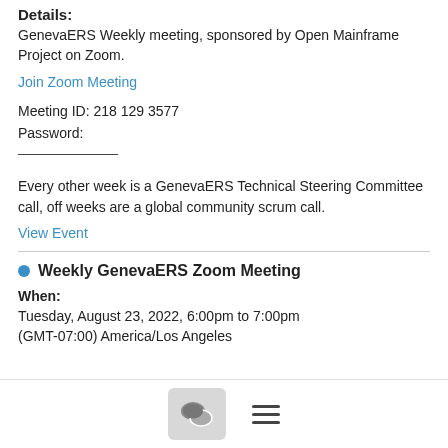Details:
GenevaERS Weekly meeting, sponsored by Open Mainframe Project on Zoom.
Join Zoom Meeting
Meeting ID: 218 129 3577
Password:
Every other week is a GenevaERS Technical Steering Committee call, off weeks are a global community scrum call.
View Event
Weekly GenevaERS Zoom Meeting
When:
Tuesday, August 23, 2022, 6:00pm to 7:00pm
(GMT-07:00) America/Los Angeles